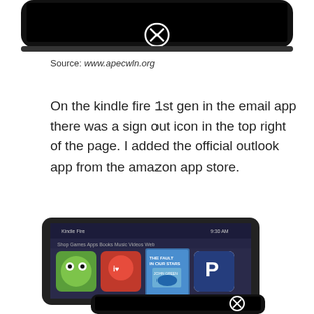[Figure (photo): Top portion of a Kindle Fire device (cropped, showing bottom edge) with a circular X (close/sign-out) icon visible on the black screen area]
Source: www.apecwln.org
On the kindle fire 1st gen in the email app there was a sign out icon in the top right of the page. I added the official outlook app from the amazon app store.
[Figure (photo): Kindle Fire tablet showing the home screen with app icons including Cut the Rope, iHeartRadio, The Fault in Our Stars book cover by John Green, and a Paypal icon. Below it is the bottom edge of another device with a circular X icon.]